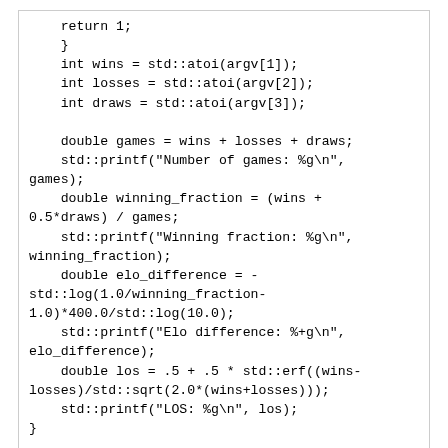return 1;
    }
    int wins = std::atoi(argv[1]);
    int losses = std::atoi(argv[2]);
    int draws = std::atoi(argv[3]);

    double games = wins + losses + draws;
    std::printf("Number of games: %g\n", games);
    double winning_fraction = (wins + 0.5*draws) / games;
    std::printf("Winning fraction: %g\n", winning_fraction);
    double elo_difference = -std::log(1.0/winning_fraction-1.0)*400.0/std::log(10.0);
    std::printf("Elo difference: %+g\n", elo_difference);
    double los = .5 + .5 * std::erf((wins-losses)/std::sqrt(2.0*(wins+losses)));
    std::printf("LOS: %g\n", los);
}
Statistical Analysis